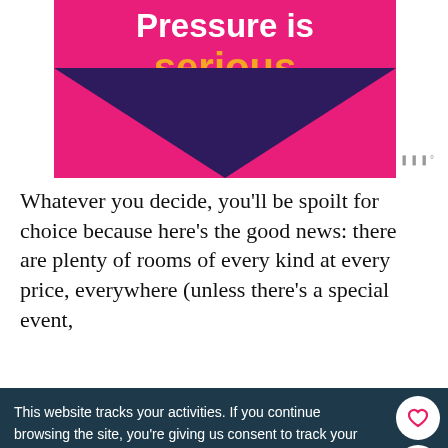[Figure (illustration): Pink background graphic with white bold text 'Pressure is' and orange bold text 'serious', with a dark purple inverted triangle/heart shape below the text.]
Whatever you decide, you'll be spoilt for choice because here's the good news: there are plenty of rooms of every kind at every price, everywhere (unless there's a special event,
This website tracks your activities. If you continue browsing the site, you're giving us consent to track your activity.
[Figure (screenshot): Bottom ad bar with Loopme logo, checkmark, 'In-store shopping' text, blue navigation arrow icon, close button, and watermark logo.]